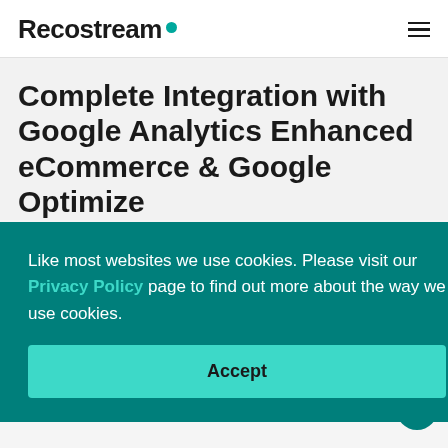Recostream
Complete Integration with Google Analytics Enhanced eCommerce & Google Optimize
Objectively analyze the effectiveness of our recommendation and their impact on your store metrics in Enhanced eCommerce. Easily run A/B
Like most websites we use cookies. Please visit our Privacy Policy page to find out more about the way we use cookies.
Accept
lytics?
Conversions (last 28 days)